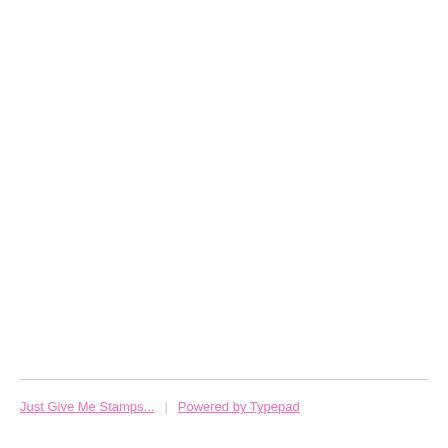Just Give Me Stamps... | Powered by Typepad